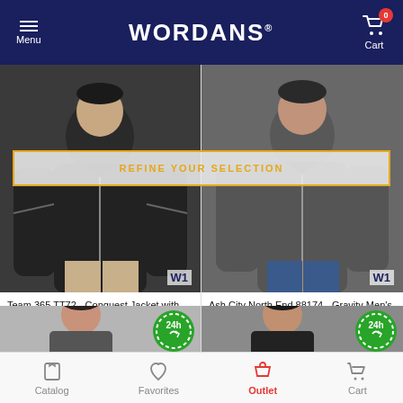Menu | WORDANS | Cart (0)
[Figure (photo): Team 365 TT72 Conquest Jacket with Fleece Lining - black jacket on male model, W1 badge]
[Figure (photo): Ash City North End 88174 Gravity Men's Performance jacket - grey jacket on male model, W1 badge]
REFINE YOUR SELECTION
Team 365 TT72 - Conquest Jacket with Fleece Lining
$18.29  -78%
Ash City North End 88174 - Gravity Men's Performance
$47.70  -36%  $74.00
[Figure (photo): Women's grey performance jacket - female model, 24h badge]
[Figure (photo): Men's black performance jacket - male model, 24h badge]
Catalog | Favorites | Outlet | Cart